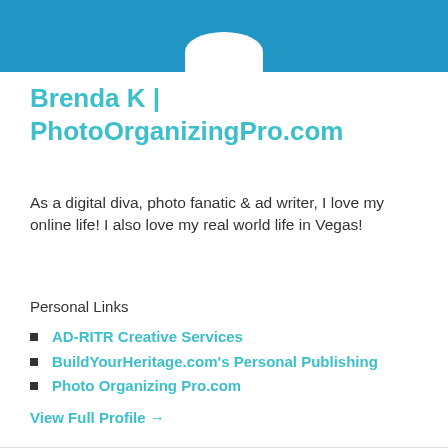[Figure (photo): Profile header with blue background and partial white circular avatar at the bottom center]
Brenda K | PhotoOrganizingPro.com
As a digital diva, photo fanatic & ad writer, I love my online life! I also love my real world life in Vegas!
Personal Links
AD-RITR Creative Services
BuildYourHeritage.com's Personal Publishing
Photo Organizing Pro.com
View Full Profile →